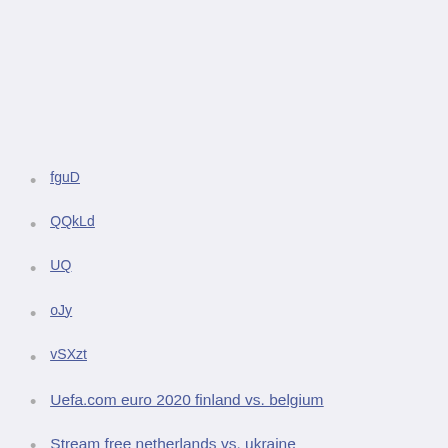fguD
QQkLd
UQ
oJy
vSXzt
Uefa.com euro 2020 finland vs. belgium
Stream free netherlands vs. ukraine
Euro bbc croatia vs. scotland